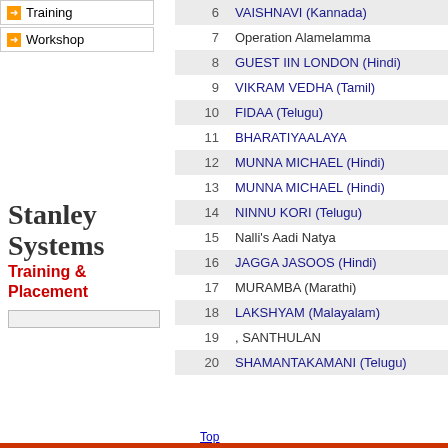Training
Workshop
[Figure (logo): Stanley Systems Training & Placement logo]
| # | Title |
| --- | --- |
| 6 | VAISHNAVI (Kannada) |
| 7 | Operation Alamelamma |
| 8 | GUEST IIN LONDON (Hindi) |
| 9 | VIKRAM VEDHA (Tamil) |
| 10 | FIDAA (Telugu) |
| 11 | BHARATIYAALAYA |
| 12 | MUNNA MICHAEL (Hindi) |
| 13 | MUNNA MICHAEL (Hindi) |
| 14 | NINNU KORI (Telugu) |
| 15 | Nalli's Aadi Natya |
| 16 | JAGGA JASOOS (Hindi) |
| 17 | MURAMBA (Marathi) |
| 18 | LAKSHYAM (Malayalam) |
| 19 | , SANTHULAN |
| 20 | SHAMANTAKAMANI (Telugu) |
Top